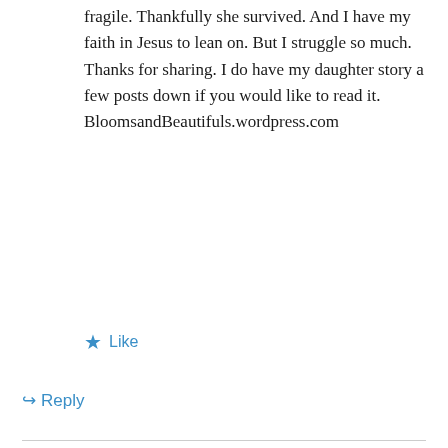fragile. Thankfully she survived. And I have my faith in Jesus to lean on. But I struggle so much. Thanks for sharing. I do have my daughter story a few posts down if you would like to read it. BloomsandBeautifuls.wordpress.com
★ Like
↪ Reply
Privacy & Cookies: This site uses cookies. By continuing to use this website, you agree to their use.
To find out more, including how to control cookies, see here: Cookie Policy
Close and accept